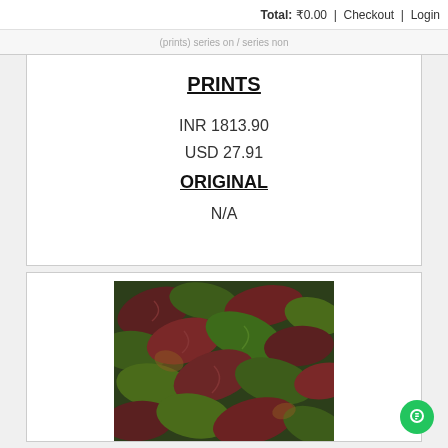Total: ₹0.00  |  Checkout  |  Login
(prints) series on / series non
PRINTS
INR 1813.90
USD 27.91
ORIGINAL
N/A
[Figure (photo): Close-up photograph of dark red and green crinkled leaves of a plant, dense foliage filling the frame]